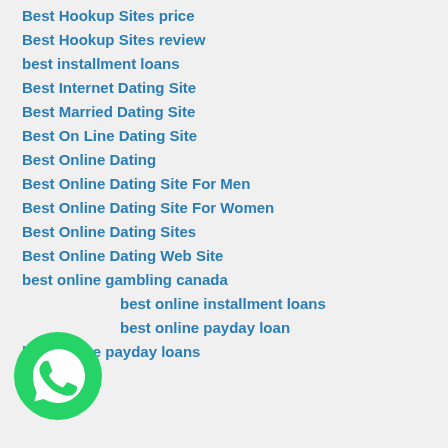Best Hookup Sites price
Best Hookup Sites review
best installment loans
Best Internet Dating Site
Best Married Dating Site
Best On Line Dating Site
Best Online Dating
Best Online Dating Site For Men
Best Online Dating Site For Women
Best Online Dating Sites
Best Online Dating Web Site
best online gambling canada
best online installment loans
best online payday loan
best online payday loans
[Figure (logo): WhatsApp logo — green circle with white phone handset icon]